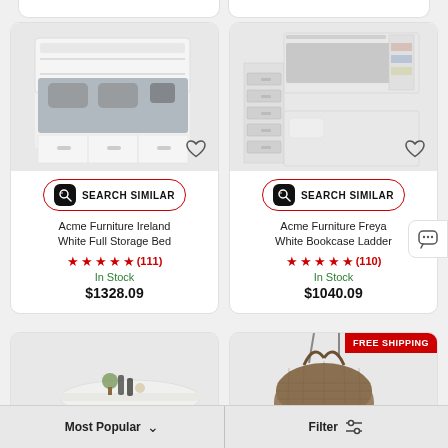[Figure (photo): Acme Furniture Ireland White Full Storage Bed product photo]
SEARCH SIMILAR
Acme Furniture Ireland White Full Storage Bed
★★★★★ (111)
In Stock
$1328.09
[Figure (photo): Acme Furniture Freya White Bookcase Ladder product photo]
SEARCH SIMILAR
Acme Furniture Freya White Bookcase Ladder
★★★★★ (110)
In Stock
$1040.09
[Figure (photo): Bottom left product partial view - table]
[Figure (photo): Bottom right product partial view - wicker item, FREE SHIPPING badge]
FREE SHIPPING
Most Popular ∨
Filter